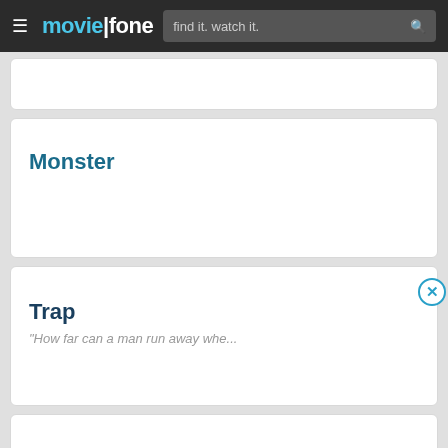moviefone — find it. watch it.
Monster
Trap
"How far can a man run away whe..."
Warning: Explicit Content ...